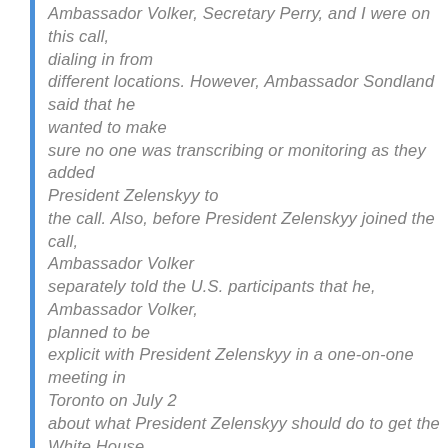Ambassador Volker, Secretary Perry, and I were on this call, dialing in from different locations. However, Ambassador Sondland said that he wanted to make sure no one was transcribing or monitoring as they added President Zelenskyy to the call. Also, before President Zelenskyy joined the call, Ambassador Volker separately told the U.S. participants that he, Ambassador Volker, planned to be explicit with President Zelenskyy in a one-on-one meeting in Toronto on July 2 about what President Zelenskyy should do to get the White House meeting. Again, it was not clear to me on that call what this meant, but Ambassador Volker noted that he would relay that President Trump wanted to see rule of law, transparency, but also, specifically, cooperation on investigations to “get to the bottom of things.” Once President Zelenskyy joined the call, the conversation